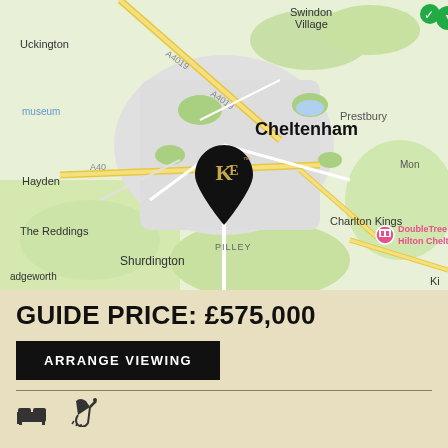[Figure (map): Google Maps view of Cheltenham area showing Swindon Village, Uckington, Hayden, The Reddings, Adgeworth, Shurdington, Cheltenham Racecourse, Prestbury, Charlton Kings, PILLEY, with a KE branded property pin marker in the center of Cheltenham, and a DoubleTree by Hilton Cheltenham marker.]
GUIDE PRICE: £575,000
ARRANGE VIEWING